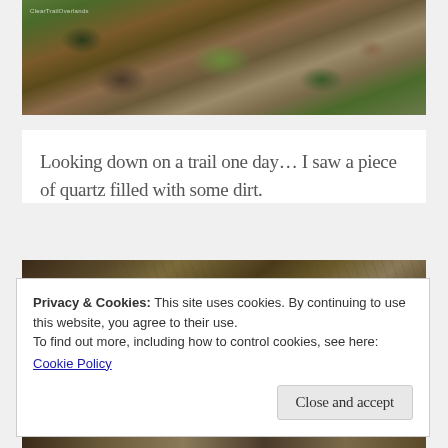[Figure (photo): Close-up photo of trail ground with cactus, rocks, and dry vegetation]
Looking down on a trail one day… I saw a piece of quartz filled with some dirt.
[Figure (photo): Close-up photo of trail ground showing rocks, quartz, and dry grass stems]
Privacy & Cookies: This site uses cookies. By continuing to use this website, you agree to their use.
To find out more, including how to control cookies, see here:
Cookie Policy
Close and accept
[Figure (photo): Partial photo strip at bottom of page showing ground/rocks]